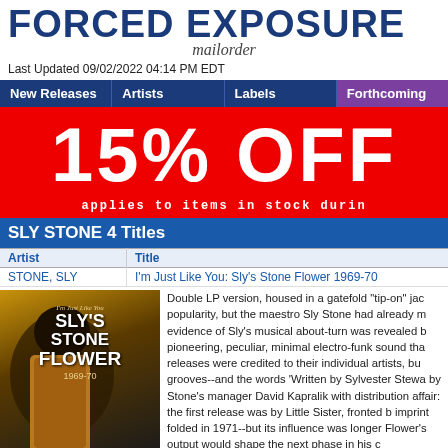FORCED EXPOSURE mailorder
Last Updated 09/02/2022 04:14 PM EDT
| New Releases | Artists | Labels | Forthcoming |
| --- | --- | --- | --- |
[Figure (infographic): Red promotional banner with white text reading '15% OFF applies to items in stock durin']
SLY STONE 4 Titles
| Artist | Title |
| --- | --- |
| STONE, SLY | I'm Just Like You: Sly's Stone Flower 1969-70 |
[Figure (photo): Album cover for I'm Just Like You: Sly's Stone Flower 1969-70, showing a person at a keyboard with afro hair]
Double LP version, housed in a gatefold "tip-on" jac popularity, but the maestro Sly Stone had already m evidence of Sly's musical about-turn was revealed b pioneering, peculiar, minimal electro-funk sound tha releases were credited to their individual artists, bu grooves--and the words 'Written by Sylvester Stewa by Stone's manager David Kapralik with distribution affair: the first release was by Little Sister, fronted b imprint folded in 1971--but its influence was longer Flower's output would shape the next phase in his c experimenting with the brand new Maestro Rhythm end guitar sounds and a distinctly lo-fi soundscape